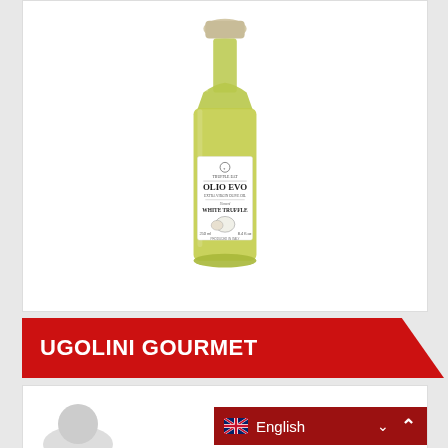[Figure (photo): A glass bottle of Truffle Eat Olio EVO Extra Virgin Olive Oil flavored with White Truffle, 250ml / 8.4 fl oz, with a beige/cream stopper cap. The bottle contains golden-green olive oil and has a white label with black text.]
UGOLINI GOURMET
[Figure (photo): Partial view of another product at the bottom of the page, partially cut off]
English